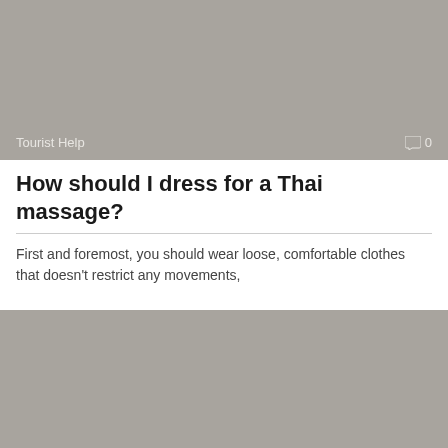[Figure (photo): Grey placeholder image with Tourist Help tag and comment count 0]
How should I dress for a Thai massage?
First and foremost, you should wear loose, comfortable clothes that doesn't restrict any movements,
[Figure (photo): Grey placeholder image with Tourist Help tag and comment count 0]
How many Vietnamese refugees came to Australia in the 1970s and 1980s?
1980. 12,915 Vietnamese arrive in Australia. This surge coincides with the nationalisation of the